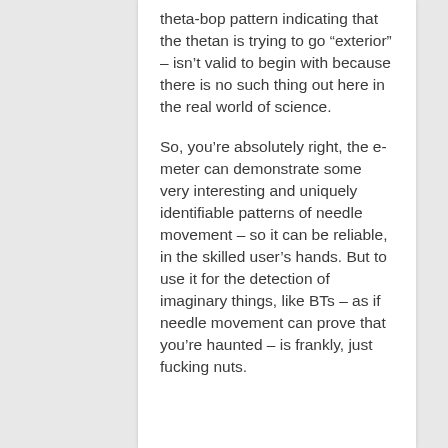theta-bop pattern indicating that the thetan is trying to go “exterior” – isn’t valid to begin with because there is no such thing out here in the real world of science.

So, you’re absolutely right, the e-meter can demonstrate some very interesting and uniquely identifiable patterns of needle movement – so it can be reliable, in the skilled user’s hands. But to use it for the detection of imaginary things, like BTs – as if needle movement can prove that you’re haunted – is frankly, just fucking nuts.